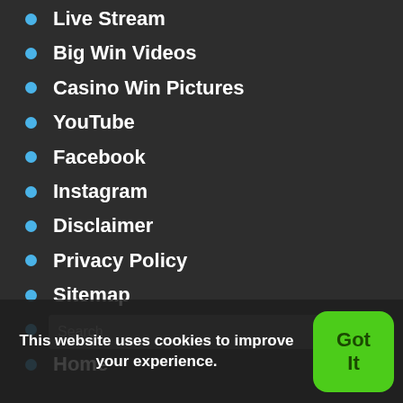Live Stream
Big Win Videos
Casino Win Pictures
YouTube
Facebook
Instagram
Disclaimer
Privacy Policy
Sitemap
På Svenska
Home
This website uses cookies to improve your experience.
Got It